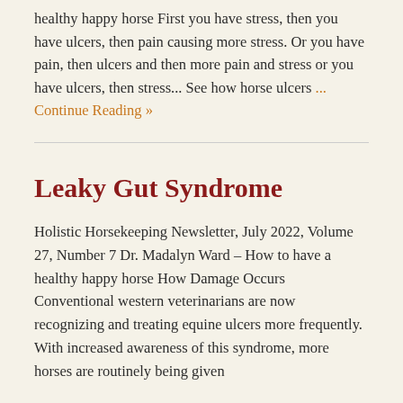healthy happy horse First you have stress, then you have ulcers, then pain causing more stress. Or you have pain, then ulcers and then more pain and stress or you have ulcers, then stress... See how horse ulcers ... Continue Reading »
Leaky Gut Syndrome
Holistic Horsekeeping Newsletter, July 2022, Volume 27, Number 7 Dr. Madalyn Ward – How to have a healthy happy horse How Damage Occurs Conventional western veterinarians are now recognizing and treating equine ulcers more frequently. With increased awareness of this syndrome, more horses are routinely being given